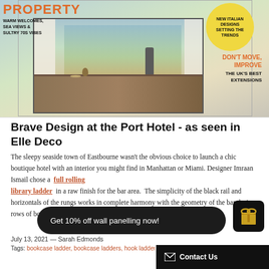[Figure (photo): Magazine cover showing an interior room with a dining table, window, and text overlays including 'PROPERTY WARM WELCOMES, SEA VIEWS & SULTRY 70s VIBES', a yellow circle with 'NEW ITALIAN DESIGNS SETTING THE TRENDS', orange text 'DON'T MOVE, IMPROVE', and 'THE UK'S BEST EXTENSIONS']
Brave Design at the Port Hotel - as seen in Elle Deco
The sleepy seaside town of Eastbourne wasn't the obvious choice to launch a chic boutique hotel with an interior you might find in Manhattan or Miami. Designer Imraan Ismail chose a full rolling library ladder in a raw finish for the bar area. The simplicity of the black rail and horizontals of the rungs works in complete harmony with the geometry of the bar design, rows of bottles and shimmering pink...
Get 10% off wall panelling now!
July 13, 2021 — Sarah Edmonds
Tags: bookcase ladder, bookcase ladders, hook ladder, hook-over ladder uk, kitchen ladder uk, ladder supplier
Contact Us